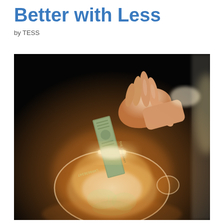Better with Less
by TESS
[Figure (photo): A hand inserting a dollar bill (US currency) into a glowing transparent glass piggy bank, against a dark black background. The piggy bank glows with warm orange/white light from within, illuminating the bills and coins inside.]